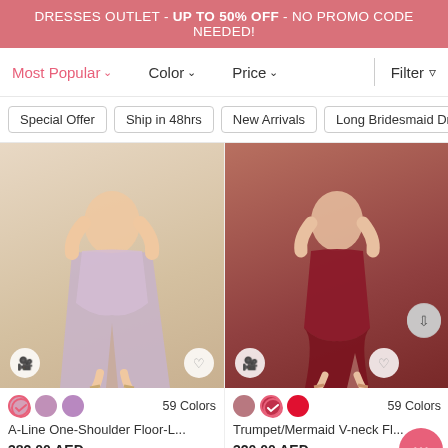DRESSES OUTLET - UP TO 50% OFF - NO PROMO CODE NEEDED!
Most Popular ∨   Color ∨   Price ∨   Filter
Special Offer
Ship in 48hrs
New Arrivals
Long Bridesmaid Dre...
[Figure (photo): A-Line One-Shoulder Floor-Length bridesmaid dress in lavender/mauve, model wearing with a side slit]
59 Colors
A-Line One-Shoulder Floor-L...
382.00 AED
[Figure (photo): Trumpet/Mermaid V-neck Floor-Length bridesmaid dress in dark red/burgundy, model wearing with a side slit]
59 Colors
Trumpet/Mermaid V-neck Fl...
320.00 AED